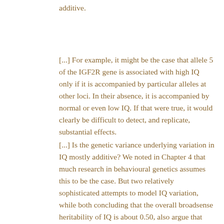additive.
[...] For example, it might be the case that allele 5 of the IGF2R gene is associated with high IQ only if it is accompanied by particular alleles at other loci. In their absence, it is accompanied by normal or even low IQ. If that were true, it would clearly be difficult to detect, and replicate, substantial effects.
[...] Is the genetic variance underlying variation in IQ mostly additive? We noted in Chapter 4 that much research in behavioural genetics assumes this to be the case. But two relatively sophisticated attempts to model IQ variation, while both concluding that the overall broadsense heritability of IQ is about 0.50, also argue that additive genetic variance accounted for no more than about 30% of the overall variation in IQ.